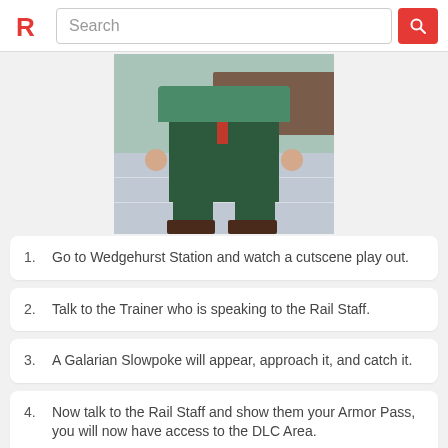Search
[Figure (screenshot): Game screenshot showing a character in a green tracksuit at Wedgehurst Station, viewed from torso down, standing on tiled floor near a counter.]
Go to Wedgehurst Station and watch a cutscene play out.
Talk to the Trainer who is speaking to the Rail Staff.
A Galarian Slowpoke will appear, approach it, and catch it.
Now talk to the Rail Staff and show them your Armor Pass, you will now have access to the DLC Area.